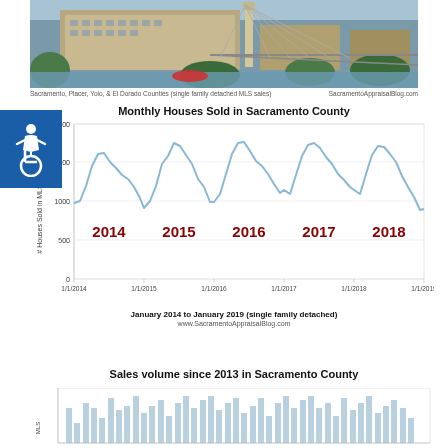[Figure (photo): Aerial/riverside photo of Sacramento city buildings and bridge]
Sacramento, Placer, Yolo, & El Dorado Counties (single family detached MLS sales)    SacramentoAppraisalBlog.com
[Figure (line-chart): Monthly Houses Sold in Sacramento County]
www.SacramentoAppraisalBlog.com
Sales volume since 2013 in Sacramento County